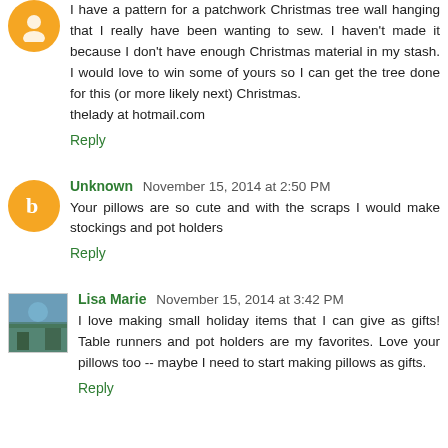I have a pattern for a patchwork Christmas tree wall hanging that I really have been wanting to sew. I haven't made it because I don't have enough Christmas material in my stash. I would love to win some of yours so I can get the tree done for this (or more likely next) Christmas.
thelady at hotmail.com
Reply
Unknown  November 15, 2014 at 2:50 PM
Your pillows are so cute and with the scraps I would make stockings and pot holders
Reply
[Figure (photo): Lisa Marie profile photo showing outdoor scene]
Lisa Marie  November 15, 2014 at 3:42 PM
I love making small holiday items that I can give as gifts! Table runners and pot holders are my favorites. Love your pillows too -- maybe I need to start making pillows as gifts.
Reply